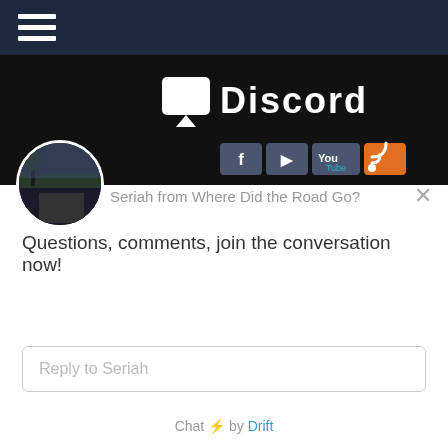[Figure (screenshot): Navigation bar with hamburger menu icon on dark navy background]
[Figure (screenshot): Dark banner area with speech bubble logo and Discord-style text, social media icons (Facebook, Twitter, YouTube, RSS) on right side]
Seriah from Where Did the Road Go?
Questions, comments, join the conversation now!
Reply to Seriah
Chat ⚡ by Drift